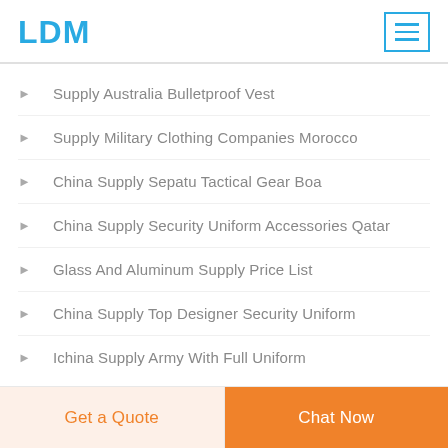LDM
Supply Australia Bulletproof Vest
Supply Military Clothing Companies Morocco
China Supply Sepatu Tactical Gear Boa
China Supply Security Uniform Accessories Qatar
Glass And Aluminum Supply Price List
China Supply Top Designer Security Uniform
Ichina Supply Army With Full Uniform
Get a Quote  Chat Now